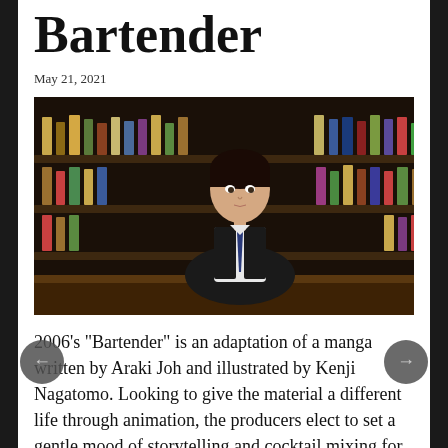Bartender
May 21, 2021
[Figure (illustration): Anime still from Bartender (2006) showing a young male bartender in a black vest, white shirt, and dark tie, standing behind a bar filled with liquor bottles on shelves.]
2006's "Bartender" is an adaptation of a manga written by Araki Joh and illustrated by Kenji Nagatomo. Looking to give the material a different life through animation, the producers elect to set a gentle mood of storytelling and cocktail mixing for the show, which examines